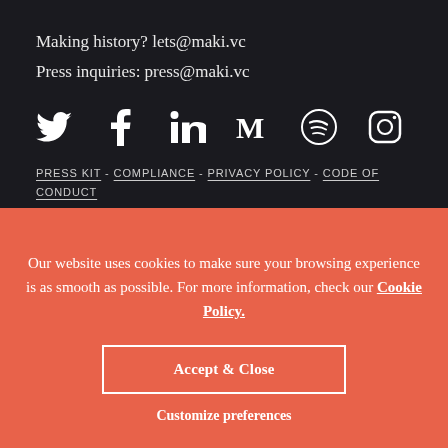Making history? lets@maki.vc
Press inquiries: press@maki.vc
[Figure (infographic): Row of social media icons: Twitter (bird), Facebook (f), LinkedIn (in), Medium (M), Spotify (circle with lines), Instagram (camera outline)]
PRESS KIT - COMPLIANCE - PRIVACY POLICY - CODE OF CONDUCT
Our website uses cookies to make sure your browsing experience is as smooth as possible. For more information, check our Cookie Policy.
Accept & Close
Customize preferences